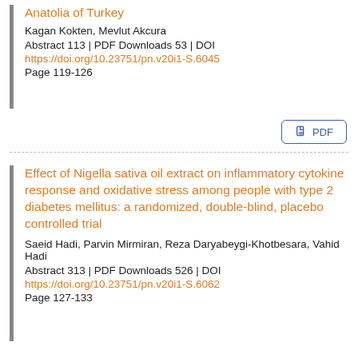Anatolia of Turkey
Kagan Kokten, Mevlut Akcura
Abstract 113 | PDF Downloads 53 | DOI
https://doi.org/10.23751/pn.v20i1-S.6045
Page 119-126
[Figure (other): PDF download button with document icon]
Effect of Nigella sativa oil extract on inflammatory cytokine response and oxidative stress among people with type 2 diabetes mellitus: a randomized, double-blind, placebo controlled trial
Saeid Hadi, Parvin Mirmiran, Reza Daryabeygi-Khotbesara, Vahid Hadi
Abstract 313 | PDF Downloads 526 | DOI
https://doi.org/10.23751/pn.v20i1-S.6062
Page 127-133